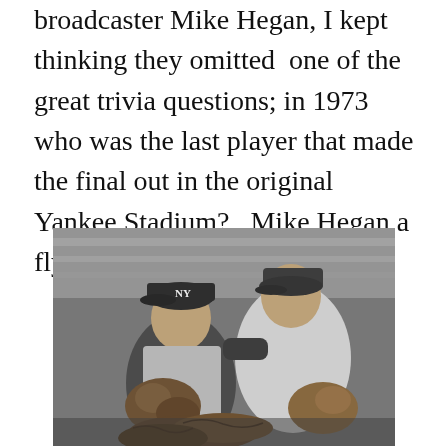broadcaster Mike Hegan, I kept thinking they omitted one of the great trivia questions; in 1973 who was the last player that made the final out in the original Yankee Stadium?   Mike Hegan a fly ball to CF.
[Figure (photo): Black and white photo of two baseball players in Yankees uniforms, one wearing a NY cap, both holding baseball gloves, facing each other.]